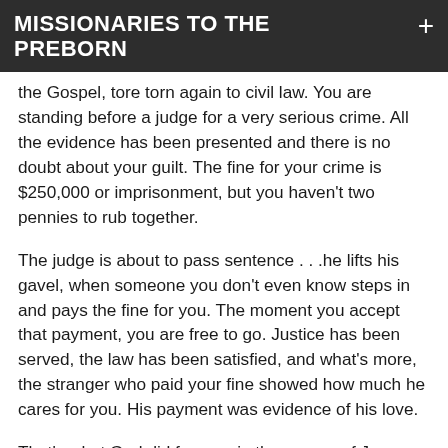MISSIONARIES TO THE PREBORN
the Gospel, tore torn again to civil law. You are standing before a judge for a very serious crime. All the evidence has been presented and there is no doubt about your guilt. The fine for your crime is $250,000 or imprisonment, but you haven't two pennies to rub together.
The judge is about to pass sentence . . .he lifts his gavel, when someone you don't even know steps in and pays the fine for you. The moment you accept that payment, you are free to go. Justice has been served, the law has been satisfied, and what's more, the stranger who paid your fine showed how much he cares for you. His payment was evidence of his love.
That's what God did for you, in the person of Jesus Christ. You are guilty. He paid the fine 2,000 years ago. It is that simple. The Bible puts it this way: 'He was bruised for our iniquities . . . Christ has redeemed us from the curse of the Law being made a curse for us